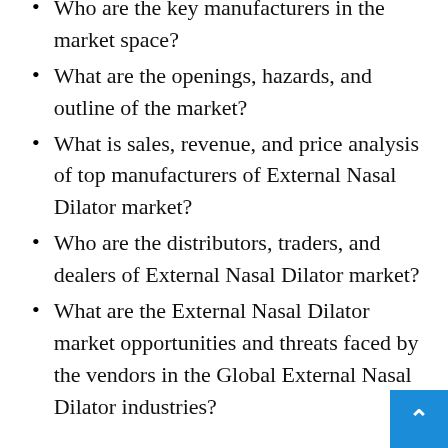Who are the key manufacturers in the market space?
What are the openings, hazards, and outline of the market?
What is sales, revenue, and price analysis of top manufacturers of External Nasal Dilator market?
Who are the distributors, traders, and dealers of External Nasal Dilator market?
What are the External Nasal Dilator market opportunities and threats faced by the vendors in the Global External Nasal Dilator industries?